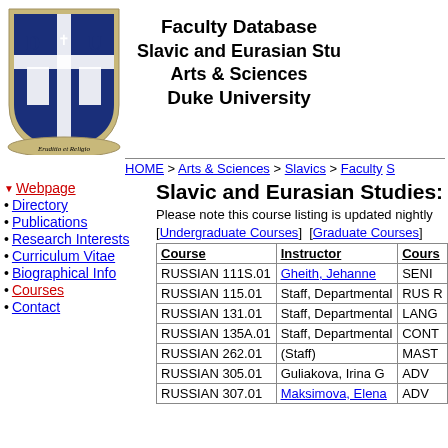[Figure (logo): Duke University shield logo with 'D U' letters and cross, with banner reading 'Eruditio et Religio']
Faculty Database
Slavic and Eurasian Studies
Arts & Sciences
Duke University
HOME > Arts & Sciences > Slavics > Faculty
Webpage
Directory
Publications
Research Interests
Curriculum Vitae
Biographical Info
Courses
Contact
Slavic and Eurasian Studies: C
Please note this course listing is updated nightly
[Undergraduate Courses]  [Graduate Courses]
| Course | Instructor | Course Title |
| --- | --- | --- |
| RUSSIAN 111S.01 | Gheith, Jehanne | SENI |
| RUSSIAN 115.01 | Staff, Departmental | RUS R |
| RUSSIAN 131.01 | Staff, Departmental | LANG |
| RUSSIAN 135A.01 | Staff, Departmental | CONT |
| RUSSIAN 262.01 | (Staff) | MAST |
| RUSSIAN 305.01 | Guliakova, Irina G | ADV |
| RUSSIAN 307.01 | Maksimova, Elena | ADV |